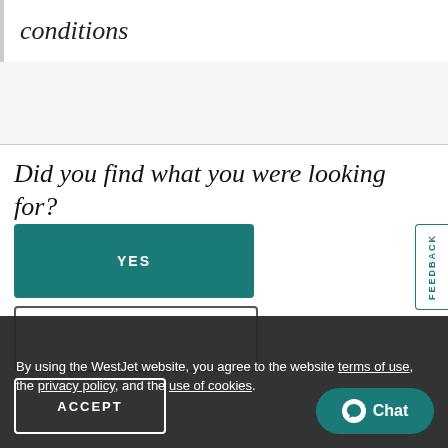conditions
Did you find what you were looking for?
YES
FEEDBACK
NO
By using the WestJet website, you agree to the website terms of use, the privacy policy, and the use of cookies.
ACCEPT
Chat